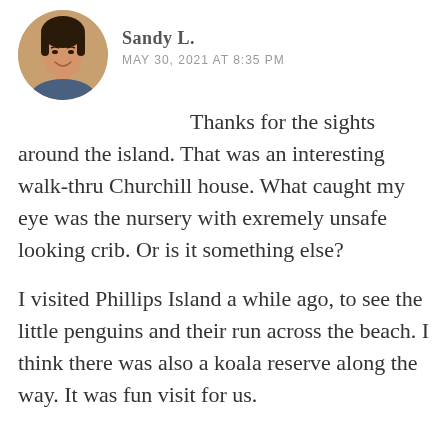[Figure (photo): Circular avatar photo of a smiling Asian woman]
Sandy L.
MAY 30, 2021 AT 8:35 PM
Thanks for the sights around the island. That was an interesting walk-thru Churchill house. What caught my eye was the nursery with exremely unsafe looking crib. Or is it something else?
I visited Phillips Island a while ago, to see the little penguins and their run across the beach. I think there was also a koala reserve along the way. It was fun visit for us.